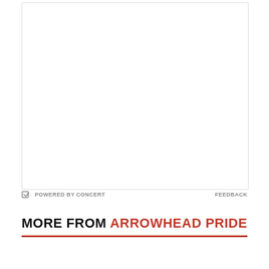[Figure (other): Advertisement box placeholder, white rectangle with border]
POWERED BY CONCERT
FEEDBACK
MORE FROM ARROWHEAD PRIDE